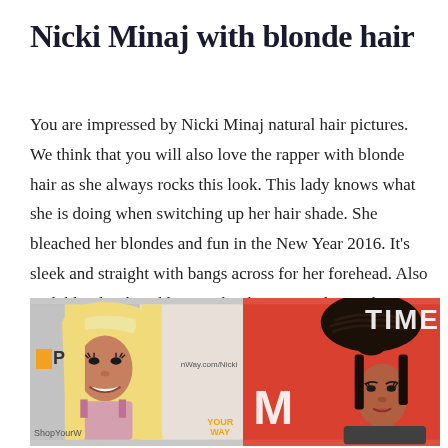Nicki Minaj with blonde hair
You are impressed by Nicki Minaj natural hair pictures. We think that you will also love the rapper with blonde hair as she always rocks this look. This lady knows what she is doing when switching up her hair shade. She bleached her blondes and fun in the New Year 2016. It's sleek and straight with bangs across for her forehead. Also with blonde, she adds some big bouncy curls to achieve a gorgeous and romantic look.
[Figure (photo): Two photos of Nicki Minaj side by side. Left photo shows her with straight blonde hair with bangs at a ShopYourWay/HOP event. Right photo shows her with dark hair in a high updo at a TIME event with red background.]